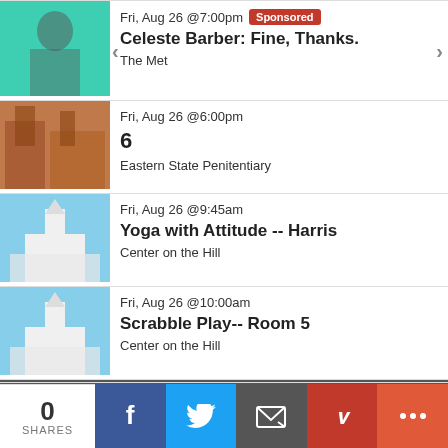Fri, Aug 26 @7:00pm [Sponsored] Celeste Barber: Fine, Thanks. The Met
Fri, Aug 26 @6:00pm 6 Eastern State Penitentiary
Fri, Aug 26 @9:45am Yoga with Attitude -- Harris Center on the Hill
Fri, Aug 26 @10:00am Scrabble Play-- Room 5 Center on the Hill
See All Events | Add Your Event
0 SHARES
[Figure (screenshot): Social sharing bar with Facebook, Twitter, Email, Pinterest, and More buttons]